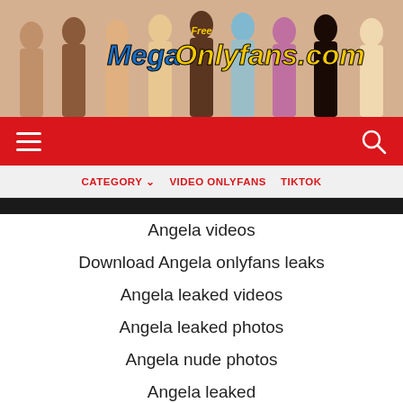[Figure (illustration): Website banner for MegaOnlyFans.com with silhouettes of multiple women and colorful logo text reading 'Free MegaOnlyFans.com']
[Figure (other): Red navigation bar with hamburger menu icon on left and search/magnifier icon on right]
CATEGORY  VIDEO ONLYFANS  TIKTOK
Angela videos
Download Angela onlyfans leaks
Angela leaked videos
Angela leaked photos
Angela nude photos
Angela leaked
Angela OnlyFans